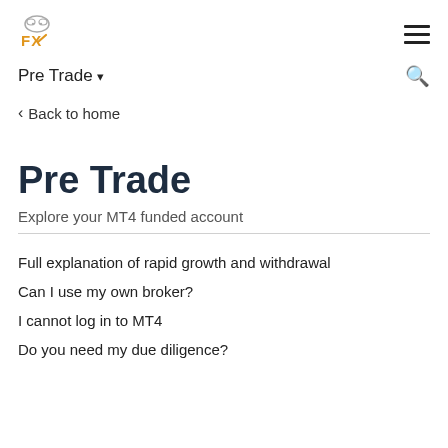[Figure (logo): FX broker logo with stylized animal head above FX text in orange/gold]
Pre Trade ▾
‹ Back to home
Pre Trade
Explore your MT4 funded account
Full explanation of rapid growth and withdrawal
Can I use my own broker?
I cannot log in to MT4
Do you need my due diligence?